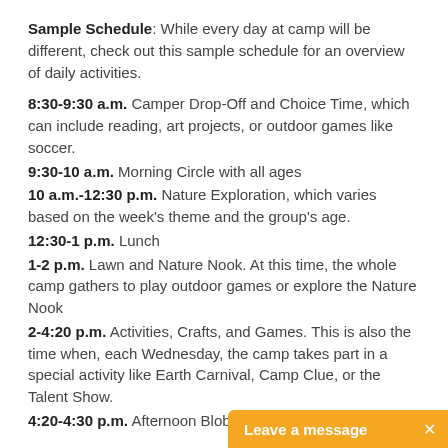Sample Schedule: While every day at camp will be different, check out this sample schedule for an overview of daily activities.
8:30-9:30 a.m. Camper Drop-Off and Choice Time, which can include reading, art projects, or outdoor games like soccer.
9:30-10 a.m. Morning Circle with all ages
10 a.m.-12:30 p.m. Nature Exploration, which varies based on the week's theme and the group's age.
12:30-1 p.m. Lunch
1-2 p.m. Lawn and Nature Nook. At this time, the whole camp gathers to play outdoor games or explore the Nature Nook
2-4:20 p.m. Activities, Crafts, and Games. This is also the time when, each Wednesday, the camp takes part in a special activity like Earth Carnival, Camp Clue, or the Talent Show.
4:20-4:30 p.m. Afternoon Blob-